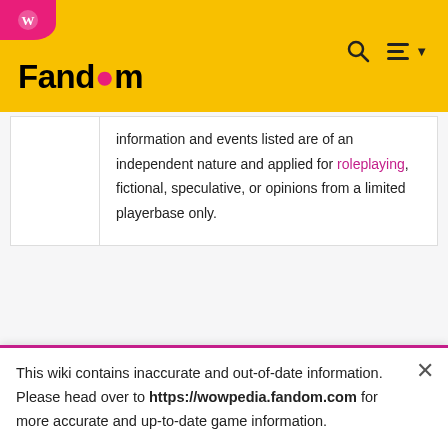Fandom
information and events listed are of an independent nature and applied for roleplaying, fictional, speculative, or opinions from a limited playerbase only.
| Battlegroup info | [Collapse] |
| --- | --- |
| Battlegroup » Cruelty/Crueldad (EU) » |
| PvEAlonsus
EN
PvFAnachronos |
This wiki contains inaccurate and out-of-date information. Please head over to https://wowpedia.fandom.com for more accurate and up-to-date game information.